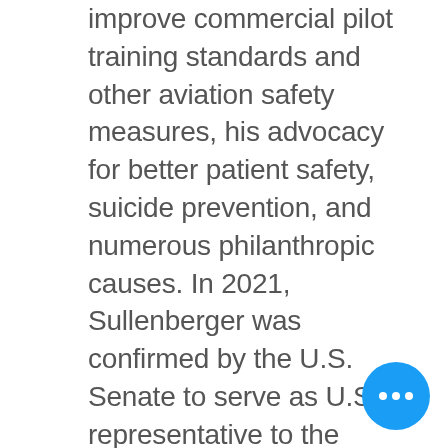improve commercial pilot training standards and other aviation safety measures, his advocacy for better patient safety, suicide prevention, and numerous philanthropic causes. In 2021, Sullenberger was confirmed by the U.S. Senate to serve as U.S. representative to the International Civil Aviation Organization, following his appointment by President Biden.
[Figure (other): A circular blue floating action button (FAB) with three horizontal white dots in the center, positioned in the bottom-right corner of the screen.]